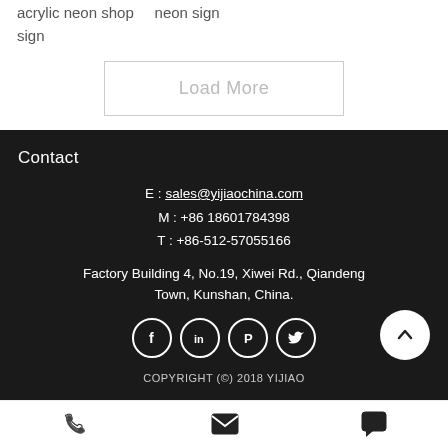acrylic neon shop sign    neon sign
Load More
Contact
E : sales@yijiaochina.com
M : +86 18601784398
T : +86-512-57055166
Factory Building 4, No.19, Xiwei Rd., Qiandeng Town, Kunshan, China.
[Figure (infographic): Social media icons: Facebook, LinkedIn, Pinterest, Twitter in white circles, plus a white up-arrow circle button]
COPYRIGHT (C) 2018 YIJIAO
[Figure (infographic): Bottom bar with phone, email, and chat icons]